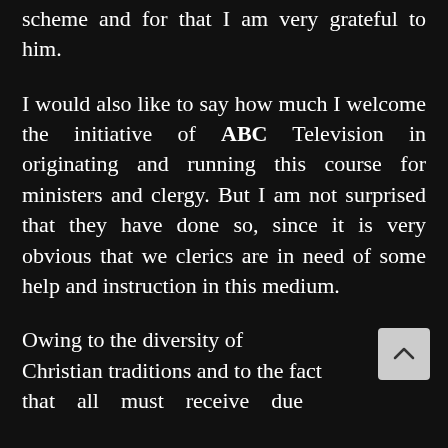scheme and for that I am very grateful to him.
I would also like to say how much I welcome the initiative of ABC Television in originating and running this course for ministers and clergy. But I am not surprised that they have done so, since it is very obvious that we clerics are in need of some help and instruction in this medium.
Owing to the diversity of Christian traditions and to the fact that all must receive due